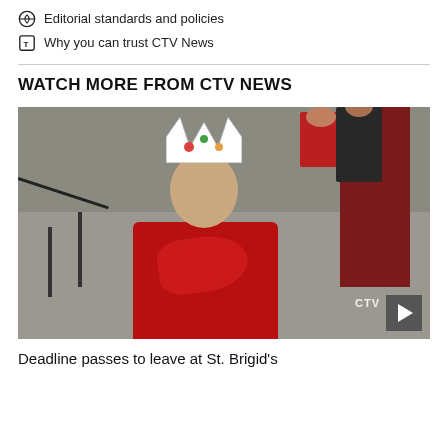Editorial standards and policies
Why you can trust CTV News
WATCH MORE FROM CTV NEWS
[Figure (photo): Man wearing a paper crown and red shirt/cape standing in front of stone steps with railings; people in background near a red door]
Deadline passes to leave at St. Brigid's